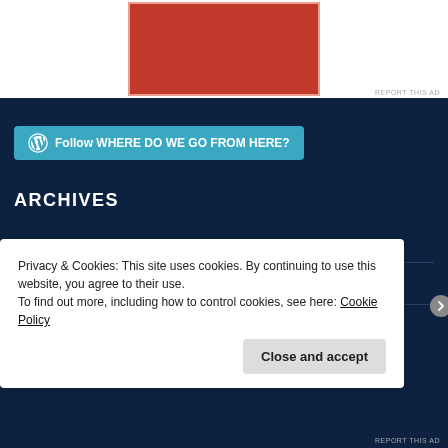[Figure (other): Red advertisement banner with pink border outline]
REPORT THIS AD
[Figure (other): WordPress Follow button: Follow WHERE DO WE GO FROM HERE?]
ARCHIVES
Mar 2022
Jan 2022
S...
Privacy & Cookies: This site uses cookies. By continuing to use this website, you agree to their use.
To find out more, including how to control cookies, see here: Cookie Policy
Close and accept
REPORT THIS AD